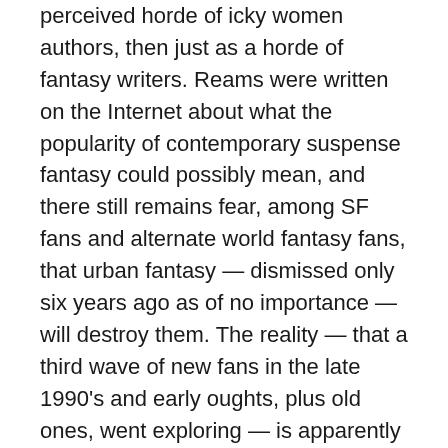perceived horde of icky women authors, then just as a horde of fantasy writers. Reams were written on the Internet about what the popularity of contemporary suspense fantasy could possibly mean, and there still remains fear, among SF fans and alternate world fantasy fans, that urban fantasy — dismissed only six years ago as of no importance — will destroy them. The reality — that a third wave of new fans in the late 1990's and early oughts, plus old ones, went exploring — is apparently considered too prosaic an explanation.
A good chunk of those fans then went on to try out historical fantasy titles, which have also been expanding along with the rest of fantasy, and the most popular era for the historical fantasy novels to start with is the Victorian era and the Sherlock Holmes turn of century, allowing a return to steampunk. Steampunk, a term coined in the